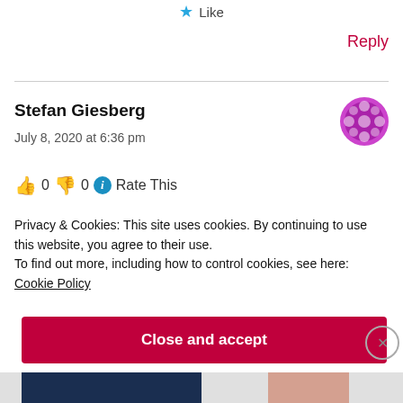★ Like
Reply
Stefan Giesberg
July 8, 2020 at 6:36 pm
👍 0 👎 0 ℹ Rate This
Privacy & Cookies: This site uses cookies. By continuing to use this website, you agree to their use.
To find out more, including how to control cookies, see here:
Cookie Policy
Close and accept